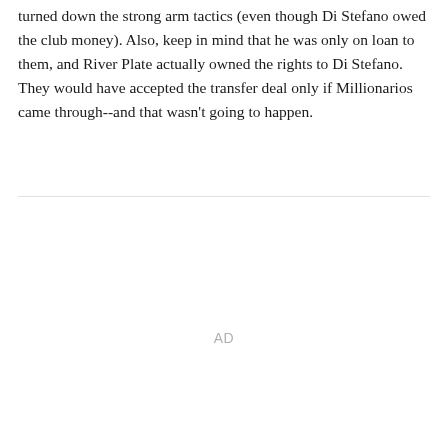turned down the strong arm tactics (even though Di Stefano owed the club money). Also, keep in mind that he was only on loan to them, and River Plate actually owned the rights to Di Stefano. They would have accepted the transfer deal only if Millionarios came through--and that wasn't going to happen.
AD